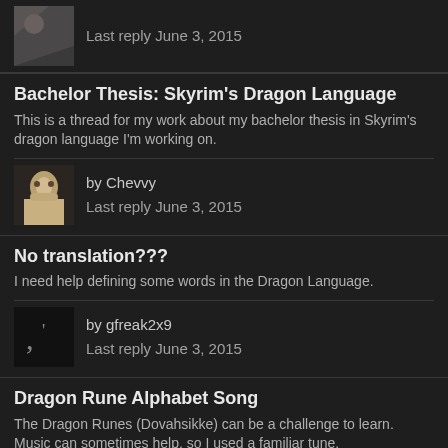Last reply June 3, 2015
Bachelor Thesis: Skyrim's Dragon Language
This is a thread for my work about my bachelor thesis in Skyrim's dragon language I'm working on.
by Chevvy
Last reply June 3, 2015
No translation???
I need help defining some words in the Dragon Language.
by gfreak2x9
Last reply June 3, 2015
Dragon Rune Alphabet Song
The Dragon Runes (Dovahsikke) can be a challenge to learn. Music can sometimes help, so I used a familiar tune.
by Maakrindah
Last reply June 2, 2015